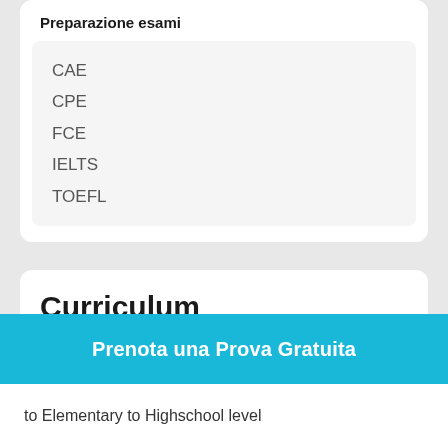Preparazione esami
CAE
CPE
FCE
IELTS
TOEFL
Curriculum
Studi e Formazione
2017    English and Biology classes
-    Raffles school - Kalimantan
Prenota una Prova Gratuita
to Elementary to Highschool level